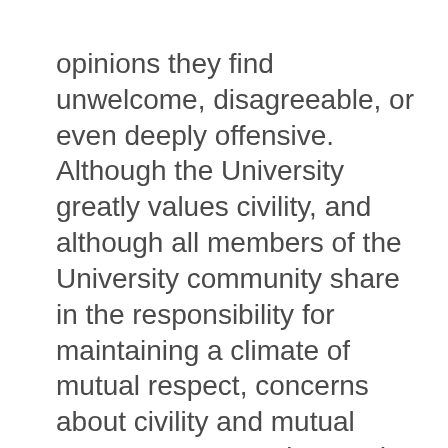opinions they find unwelcome, disagreeable, or even deeply offensive. Although the University greatly values civility, and although all members of the University community share in the responsibility for maintaining a climate of mutual respect, concerns about civility and mutual respect can never be used as a justification for closing off discussion of ideas, however offensive or disagreeable those ideas may be to some members of our community.
The freedom to debate and discuss the merits of competing ideas does not, of course, mean that individuals may say